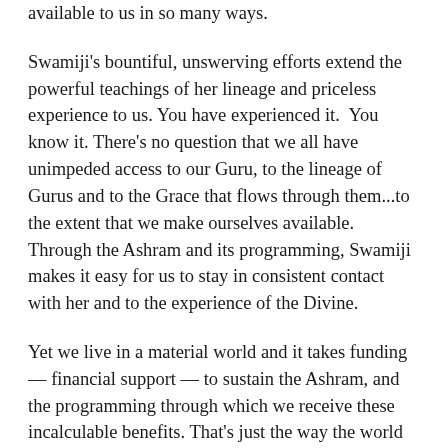available to us in so many ways.
Swamiji's bountiful, unswerving efforts extend the powerful teachings of her lineage and priceless experience to us. You have experienced it.  You know it. There's no question that we all have unimpeded access to our Guru, to the lineage of Gurus and to the Grace that flows through them...to the extent that we make ourselves available. Through the Ashram and its programming, Swamiji makes it easy for us to stay in consistent contact with her and to the experience of the Divine.
Yet we live in a material world and it takes funding — financial support — to sustain the Ashram, and the programming through which we receive these incalculable benefits. That's just the way the world works. Swamiji does everything possible to create an Ashram, physical, virtual, and ethereal that now embraces our worldwide community. No matter where we live or where we travel, we have the gift of contact